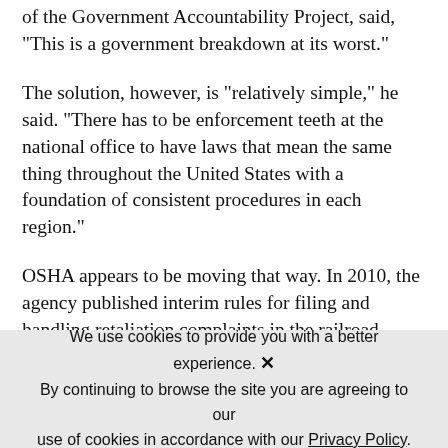of the Government Accountability Project, said, "This is a government breakdown at its worst."
The solution, however, is "relatively simple," he said. "There has to be enforcement teeth at the national office to have laws that mean the same thing throughout the United States with a foundation of consistent procedures in each region."
OSHA appears to be moving that way. In 2010, the agency published interim rules for filing and handling retaliation complaints in the railroad, public transit,
We use cookies to provide you with a better experience. By continuing to browse the site you are agreeing to our use of cookies in accordance with our Privacy Policy.